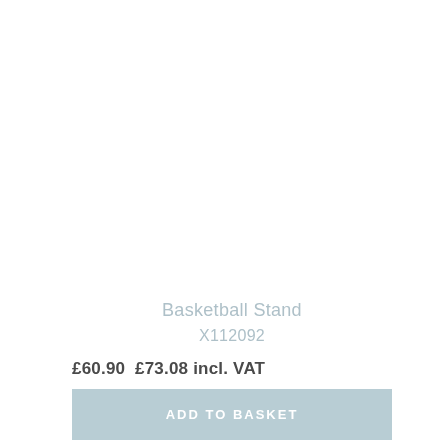Basketball Stand
X112092
£60.90  £73.08 incl. VAT
ADD TO BASKET